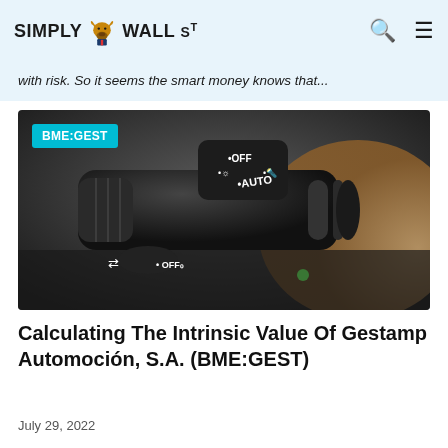SIMPLY WALL ST
with risk. So it seems the smart money knows that...
[Figure (photo): Close-up photograph of a car steering column stalk switch showing labels: OFF, AUTO, and other lighting control symbols. Badge overlay reads BME:GEST.]
Calculating The Intrinsic Value Of Gestamp Automoción, S.A. (BME:GEST)
July 29, 2022